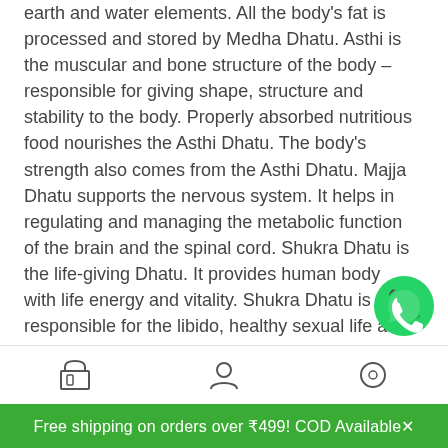earth and water elements. All the body's fat is processed and stored by Medha Dhatu. Asthi is the muscular and bone structure of the body – responsible for giving shape, structure and stability to the body. Properly absorbed nutritious food nourishes the Asthi Dhatu. The body's strength also comes from the Asthi Dhatu. Majja Dhatu supports the nervous system. It helps in regulating and managing the metabolic function of the brain and the spinal cord. Shukra Dhatu is the life-giving Dhatu. It provides human body with life energy and vitality. Shukra Dhatu is responsible for the libido, healthy sexual life and overall wellness of a man.

All these Seven Dhatus in a state of equilibrium
[Figure (other): WhatsApp chat button (green circle with white phone icon)]
Free shipping on orders over ₹499! COD Available✗